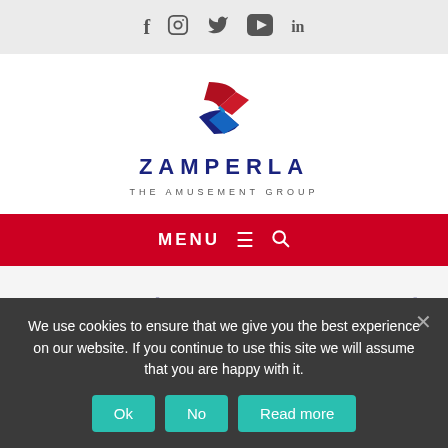Social media icons: f (Facebook), Instagram, Twitter, YouTube, LinkedIn
[Figure (logo): Zamperla The Amusement Group logo with stylized Z icon in red and blue]
MENU ≡ 🔍
10 March 2020  Zamperla
We are actively monitoring the situation (COVID-
We use cookies to ensure that we give you the best experience on our website. If you continue to use this site we will assume that you are happy with it.
Ok  No  Read more